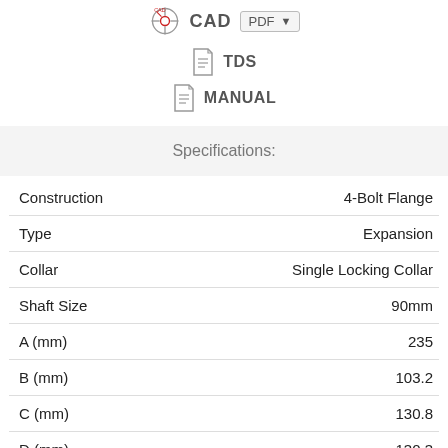[Figure (logo): CAD icon with red crosshair target symbol, followed by PDF dropdown button]
[Figure (illustration): Document icon with TDS label]
[Figure (illustration): Document icon with MANUAL label]
Specifications:
| Property | Value |
| --- | --- |
| Construction | 4-Bolt Flange |
| Type | Expansion |
| Collar | Single Locking Collar |
| Shaft Size | 90mm |
| A (mm) | 235 |
| B (mm) | 103.2 |
| C (mm) | 130.8 |
| D (mm) | 130.3 |
| E (mm) | 177.8 |